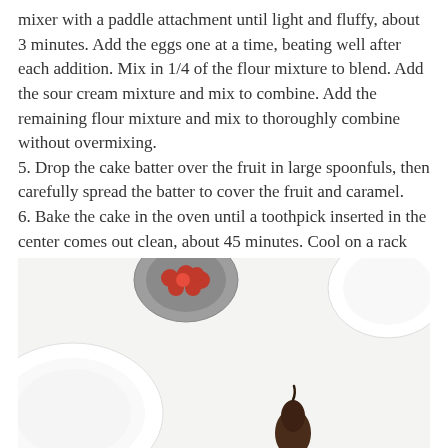mixer with a paddle attachment until light and fluffy, about 3 minutes. Add the eggs one at a time, beating well after each addition. Mix in 1/4 of the flour mixture to blend. Add the sour cream mixture and mix to combine. Add the remaining flour mixture and mix to thoroughly combine without overmixing.
5. Drop the cake batter over the fruit in large spoonfuls, then carefully spread the batter to cover the fruit and caramel.
6. Bake the cake in the oven until a toothpick inserted in the center comes out clean, about 45 minutes. Cool on a rack for 10 minutes then invert onto a plate. Serve slightly warm or at room temperature.
[Figure (photo): Overhead photo of baking ingredients on a light surface: a small dark bowl with red berries/cherries, a large white bowl, a dark pear, and a white plate/bowl at the top right corner]